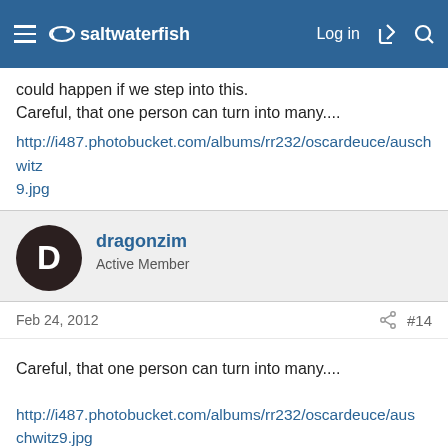saltwaterfish - Log in
could happen if we step into this.
Careful, that one person can turn into many....
http://i487.photobucket.com/albums/rr232/oscardeuce/auschwitz9.jpg
dragonzim
Active Member
Feb 24, 2012   #14
Careful, that one person can turn into many....
http&#58;//i487.photobucket.com/albums/rr232/oscardeuce/auschwitz9.jpg
Careful, that one person can turn into many, th...